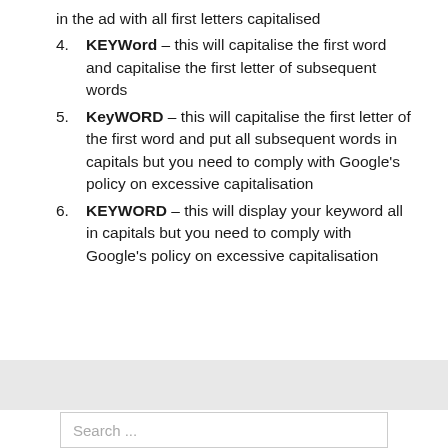in the ad with all first letters capitalised
KEYWord – this will capitalise the first word and capitalise the first letter of subsequent words
KeyWORD – this will capitalise the first letter of the first word and put all subsequent words in capitals but you need to comply with Google’s policy on excessive capitalisation
KEYWORD – this will display your keyword all in capitals but you need to comply with Google’s policy on excessive capitalisation